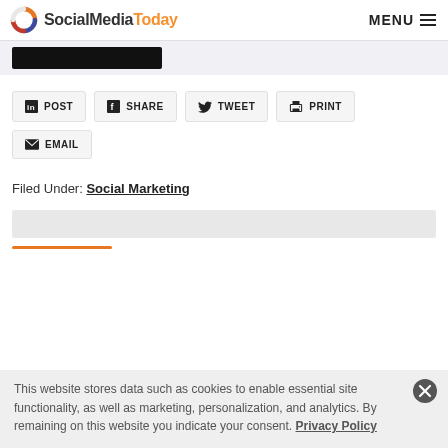SocialMediaToday — MENU
[Figure (other): Black bar image partially visible]
in POST  f SHARE  TWEET  PRINT  EMAIL
Filed Under: Social Marketing
[Figure (other): Gray bar placeholder]
[Figure (other): Orange horizontal divider line]
This website stores data such as cookies to enable essential site functionality, as well as marketing, personalization, and analytics. By remaining on this website you indicate your consent. Privacy Policy